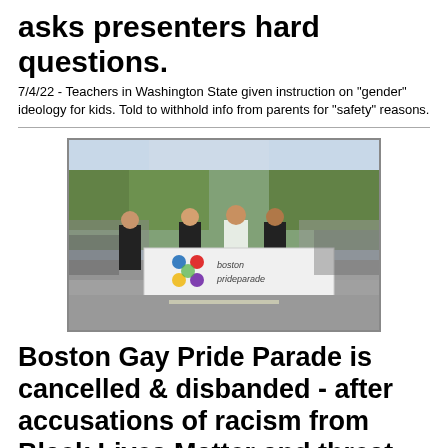asks presenters hard questions.
7/4/22 - Teachers in Washington State given instruction on "gender" ideology for kids. Told to withhold info from parents for "safety" reasons.
[Figure (photo): People marching in the Boston Pride Parade holding a large white banner that reads 'boston prideparade' with colorful dots, surrounded by a crowd on a tree-lined street.]
Boston Gay Pride Parade is cancelled & disbanded - after accusations of racism from Black Lives Matter and threat